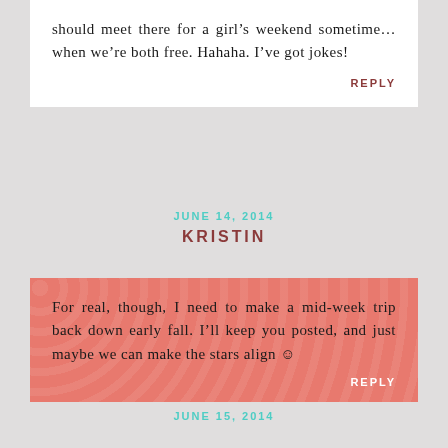should meet there for a girl’s weekend sometime… when we’re both free. Hahaha. I’ve got jokes!
REPLY
JUNE 14, 2014
KRISTIN
For real, though, I need to make a mid-week trip back down early fall. I’ll keep you posted, and just maybe we can make the stars align ☺
REPLY
JUNE 15, 2014